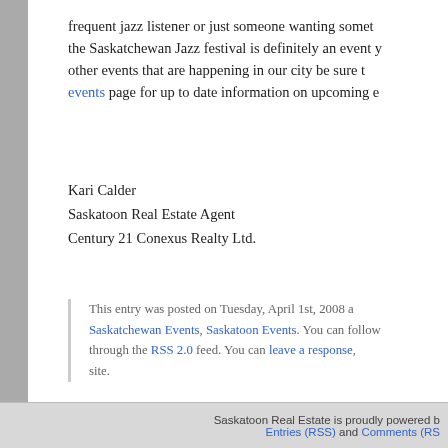frequent jazz listener or just someone wanting some... the Saskatchewan Jazz festival is definitely an event y... other events that are happening in our city be sure t... events page for up to date information on upcoming e...
Kari Calder
Saskatoon Real Estate Agent
Century 21 Conexus Realty Ltd.
This entry was posted on Tuesday, April 1st, 2008 a... Saskatchewan Events, Saskatoon Events. You can follow... through the RSS 2.0 feed. You can leave a response, ... site.
Leave a Reply
You must be logged in to post a comment.
Saskatoon Real Estate is proudly powered b... Entries (RSS) and Comments (RS...